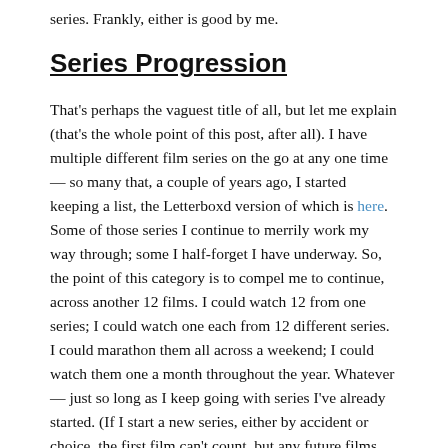series. Frankly, either is good by me.
Series Progression
That's perhaps the vaguest title of all, but let me explain (that's the whole point of this post, after all). I have multiple different film series on the go at any one time — so many that, a couple of years ago, I started keeping a list, the Letterboxd version of which is here. Some of those series I continue to merrily work my way through; some I half-forget I have underway. So, the point of this category is to compel me to continue, across another 12 films. I could watch 12 from one series; I could watch one each from 12 different series. I could marathon them all across a weekend; I could watch them one a month throughout the year. Whatever — just so long as I keep going with series I've already started. (If I start a new series, either by accident or choice, the first film can't count, but any future films can.)
I know I said there were eight categories, but if you've